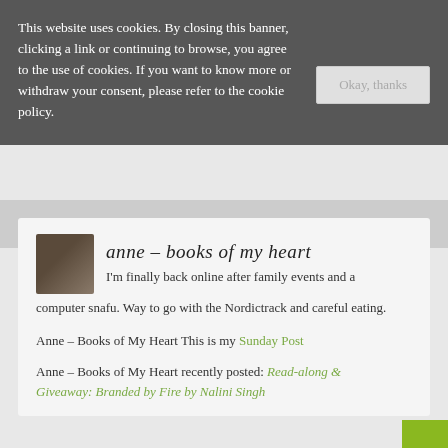This website uses cookies. By closing this banner, clicking a link or continuing to browse, you agree to the use of cookies. If you want to know more or withdraw your consent, please refer to the cookie policy.
Okay, thanks
[Figure (photo): Small avatar photo of two people]
anne – books of my heart
I'm finally back online after family events and a computer snafu. Way to go with the Nordictrack and careful eating.
Anne – Books of My Heart This is my Sunday Post
Anne – Books of My Heart recently posted: Read-along & Giveaway: Branded by Fire by Nalini Singh